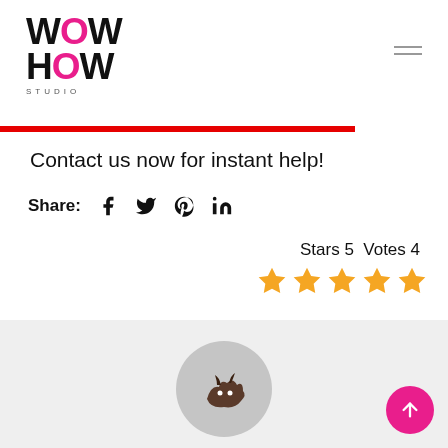WOW HOW STUDIO
Contact us now for instant help!
Share: [Facebook] [Twitter] [Pinterest] [LinkedIn]
Stars 5  Votes 4
[Figure (other): Five orange star rating icons indicating 5 stars]
[Figure (illustration): Bottom section with grey circular avatar placeholder containing a small dark dragon/creature illustration, on a light grey background]